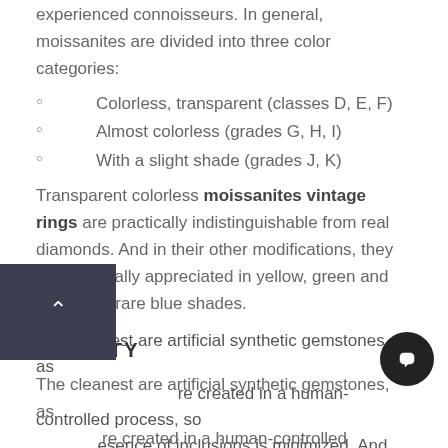experienced connoisseurs. In general, moissanites are divided into three color categories:
Colorless, transparent (classes D, E, F)
Almost colorless (grades G, H, I)
With a slight shade (grades J, K)
Transparent colorless moissanites vintage rings are practically indistinguishable from real diamonds. And in their other modifications, they are especially appreciated in yellow, green and especially rare blue shades.
CLARITY
The cleanest are artificial synthetic gemstones, as [they] are created in a human-controlled process, so [the pr]esence of inclusions is minimized. And the bes[t] purity is with moissanite.